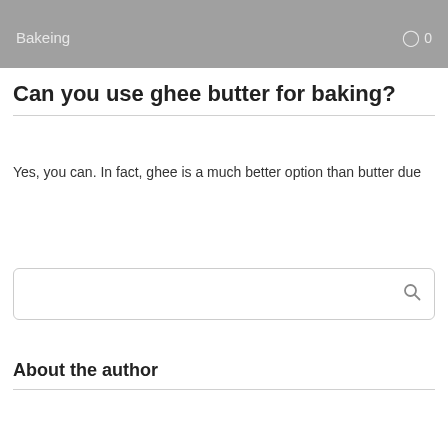Bakeing   0
Can you use ghee butter for baking?
Yes, you can. In fact, ghee is a much better option than butter due
[Figure (other): Search box with magnifying glass icon]
About the author